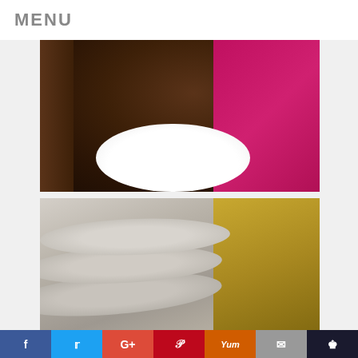MENU
[Figure (photo): Close-up photo of a sliced chocolate layer cake on a white decorative cake stand, with a pink background]
[Figure (photo): Close-up photo of stacked thin round sugar/oatmeal cookies with powdery texture, with a yellow-gold cloth in the background]
Social sharing bar with icons: Facebook, Twitter, Google+, Pinterest, Yummly, Email, Crown